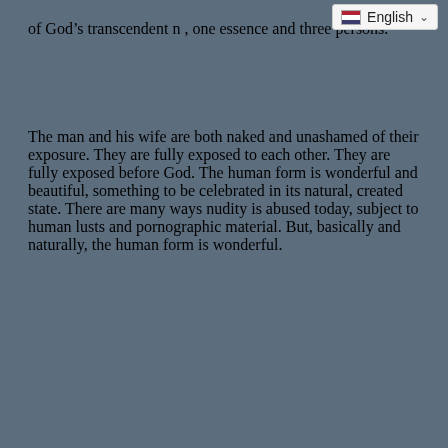of God's transcendent n…, one essence and three persons.
The man and his wife are both naked and unashamed of their exposure. They are fully exposed to each other. They are fully exposed before God. The human form is wonderful and beautiful, something to be celebrated in its natural, created state. There are many ways nudity is abused today, subject to human lusts and pornographic material. But, basically and naturally, the human form is wonderful.